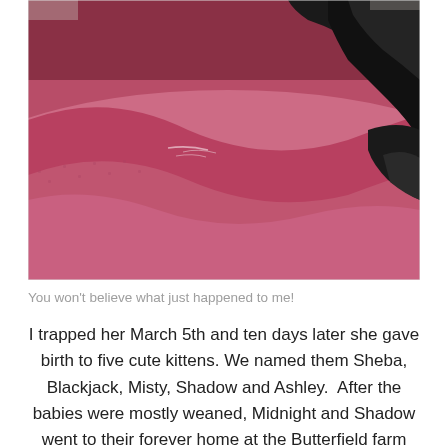[Figure (photo): Close-up photo of a black cat resting on a pink/magenta textured fabric cushion or blanket. The cat's fur and paws are visible in the upper right, with the pink woven fabric taking up most of the frame.]
You won't believe what just happened to me!
I trapped her March 5th and ten days later she gave birth to five cute kittens. We named them Sheba, Blackjack, Misty, Shadow and Ashley.  After the babies were mostly weaned, Midnight and Shadow went to their forever home at the Butterfield farm and sanctuary. I kept the remaining four babies until they weighed enough to bring in. Miss